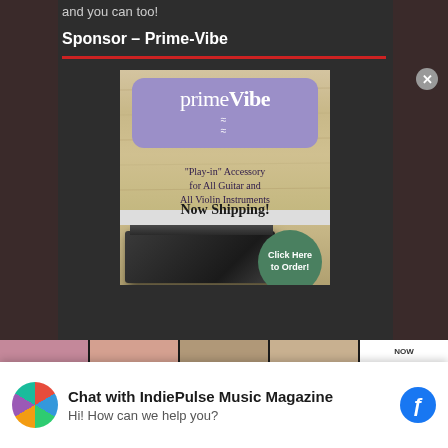and you can too!
Sponsor – Prime-Vibe
[Figure (illustration): Prime-Vibe advertisement showing a purple logo box with 'primeVibe' branding, text reading '"Play-in" Accessory for All Guitar and All Violin Instruments Now Shipping!', a black product box, and a green circle button saying 'Click Here to Order!']
Chat with IndiePulse Music Magazine
Hi! How can we help you?